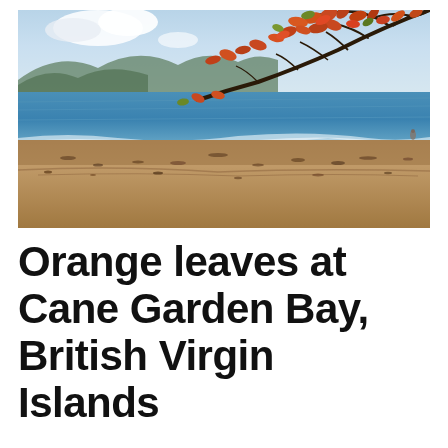[Figure (photo): A beach scene at Cane Garden Bay, British Virgin Islands. Sandy beach in the foreground with dark debris scattered across the sand. Blue ocean water and mountains in the background under a partly cloudy sky. Tree branches with orange-red and green leaves hang down from the upper right corner of the image.]
Orange leaves at Cane Garden Bay, British Virgin Islands